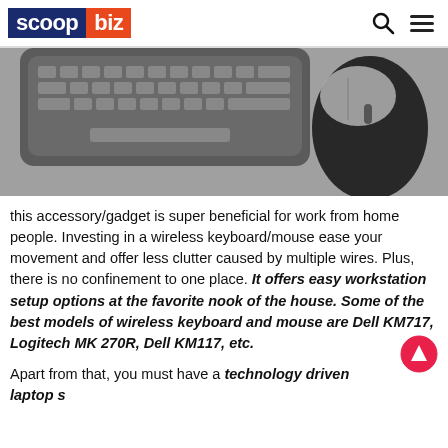scoop biz
[Figure (photo): Black and white photo of a wireless keyboard and mouse on a gray surface, viewed from above at an angle.]
this accessory/gadget is super beneficial for work from home people. Investing in a wireless keyboard/mouse ease your movement and offer less clutter caused by multiple wires. Plus, there is no confinement to one place. It offers easy workstation setup options at the favorite nook of the house. Some of the best models of wireless keyboard and mouse are Dell KM717, Logitech MK 270R, Dell KM117, etc.
Apart from that, you must have a technology driven laptop s